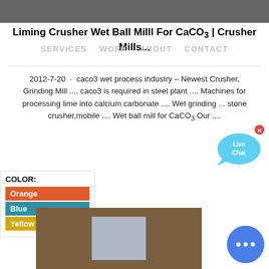[Figure (photo): Top photograph strip, dark grey/machinery background]
Liming Crusher Wet Ball Milll For CaCO3 | Crusher Mills...
SERVICES   WORK   ABOUT   CONTACT
2012-7-20 · caco3 wet process industry – Newest Crusher, Grinding Mill .... caco3 is required in steel plant .... Machines for processing lime into calcium carbonate .... Wet grinding ... stone crusher,mobile .... Wet ball mill for CaCO3 Our ....
[Figure (infographic): Live Chat bubble icon, light blue speech bubble with 'Live Chat' text and X close button]
COLOR:
Orange
Blue
Yellow
[Figure (photo): Bottom photograph showing wooden structure with grey/blue panel or box in center]
[Figure (infographic): Round blue chat button with ellipsis dots, bottom right corner]